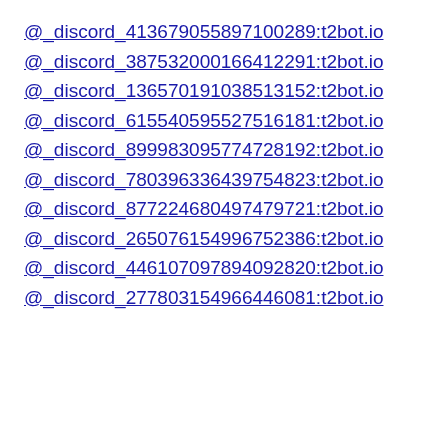@_discord_413679055897100289:t2bot.io
@_discord_387532000166412291:t2bot.io
@_discord_136570191038513152:t2bot.io
@_discord_615540595527516181:t2bot.io
@_discord_899983095774728192:t2bot.io
@_discord_780396336439754823:t2bot.io
@_discord_877224680497479721:t2bot.io
@_discord_265076154996752386:t2bot.io
@_discord_446107097894092820:t2bot.io
@_discord_277803154966446081:t2bot.io